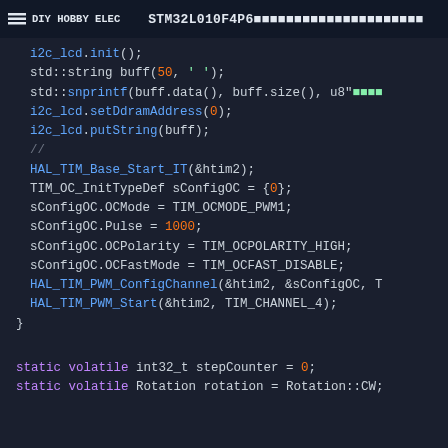DIY HOBBY ELEC   STM32L010F4P6
i2c_lcd.init();
    std::string buff(50, ' ');
    std::snprintf(buff.data(), buff.size(), u8"
    i2c_lcd.setDdramAddress(0);
    i2c_lcd.putString(buff);
    //
    HAL_TIM_Base_Start_IT(&htim2);
    TIM_OC_InitTypeDef sConfigOC = {0};
    sConfigOC.OCMode = TIM_OCMODE_PWM1;
    sConfigOC.Pulse = 1000;
    sConfigOC.OCPolarity = TIM_OCPOLARITY_HIGH;
    sConfigOC.OCFastMode = TIM_OCFAST_DISABLE;
    HAL_TIM_PWM_ConfigChannel(&htim2, &sConfigOC, T
    HAL_TIM_PWM_Start(&htim2, TIM_CHANNEL_4);
}

static volatile int32_t stepCounter = 0;
static volatile Rotation rotation = Rotation::CW;